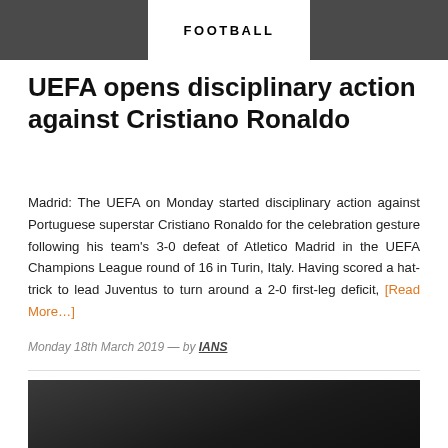[Figure (photo): Top banner image split — dark photo panels on left and right with white 'FOOTBALL' label in center]
FOOTBALL
UEFA opens disciplinary action against Cristiano Ronaldo
Madrid: The UEFA on Monday started disciplinary action against Portuguese superstar Cristiano Ronaldo for the celebration gesture following his team's 3-0 defeat of Atletico Madrid in the UEFA Champions League round of 16 in Turin, Italy. Having scored a hat-trick to lead Juventus to turn around a 2-0 first-leg deficit, [Read More…]
Monday 18th March 2019  —  by IANS
[Figure (photo): Dark photo of Cristiano Ronaldo appearing to shout or celebrate, cropped at bottom of page]